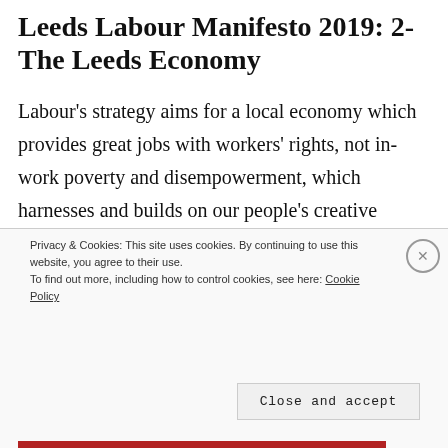Leeds Labour Manifesto 2019: 2- The Leeds Economy
Labour's strategy aims for a local economy which provides great jobs with workers' rights, not in-work poverty and disempowerment, which harnesses and builds on our people's creative talents to make a global cultural city. And which achieves growth while minimising congestion and air
Privacy & Cookies: This site uses cookies. By continuing to use this website, you agree to their use.
To find out more, including how to control cookies, see here: Cookie Policy
Close and accept